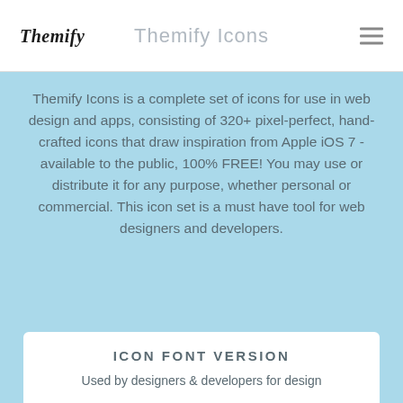Themify Icons
Themify Icons is a complete set of icons for use in web design and apps, consisting of 320+ pixel-perfect, hand-crafted icons that draw inspiration from Apple iOS 7 - available to the public, 100% FREE! You may use or distribute it for any purpose, whether personal or commercial. This icon set is a must have tool for web designers and developers.
ICON FONT VERSION
Used by designers & developers for design